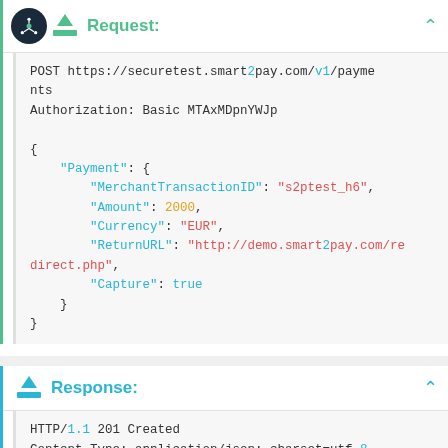Request:
POST https://securetest.smart2pay.com/v1/payments
Authorization: Basic MTAxMDpnYWJp

{
    "Payment": {
        "MerchantTransactionID": "s2ptest_h6",
        "Amount": 2000,
        "Currency": "EUR",
        "ReturnURL": "http://demo.smart2pay.com/redirect.php",
        "Capture": true
    }
}
Response:
HTTP/1.1 201 Created
Content-Type: application/json; charset=utf-8